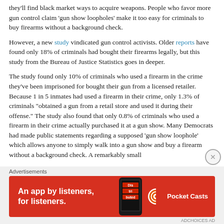they'll find black market ways to acquire weapons. People who favor more gun control claim 'gun show loopholes' make it too easy for criminals to buy firearms without a background check.
However, a new study vindicated gun control activists. Older reports have found only 18% of criminals had bought their firearms legally, but this study from the Bureau of Justice Statistics goes in deeper.
The study found only 10% of criminals who used a firearm in the crime they've been imprisoned for bought their gun from a licensed retailer. Because 1 in 5 inmates had used a firearm in their crime, only 1.3% of criminals "obtained a gun from a retail store and used it during their offense." The study also found that only 0.8% of criminals who used a firearm in their crime actually purchased it at a gun show. Many Democrats had made public statements regarding a supposed 'gun show loophole' which allows anyone to simply walk into a gun show and buy a firearm without a background check. A remarkably small
Advertisements
[Figure (other): Red advertisement banner for Pocket Casts app: 'An app by listeners, for listeners.' with Pocket Casts logo and phone image.]